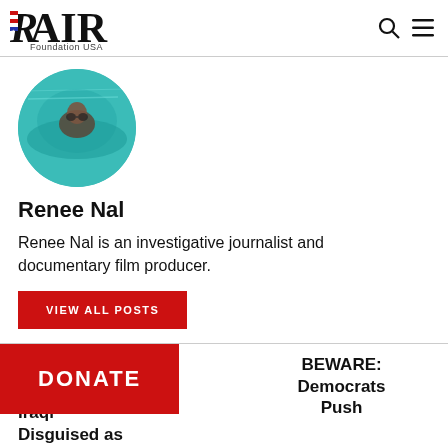RAIR Foundation USA
[Figure (photo): Circular profile photo of Renee Nal, appears to be taken underwater with teal/turquoise water background]
Renee Nal
Renee Nal is an investigative journalist and documentary film producer.
VIEW ALL POSTS
Iraqi Disguised as
BEWARE: Democrats Push